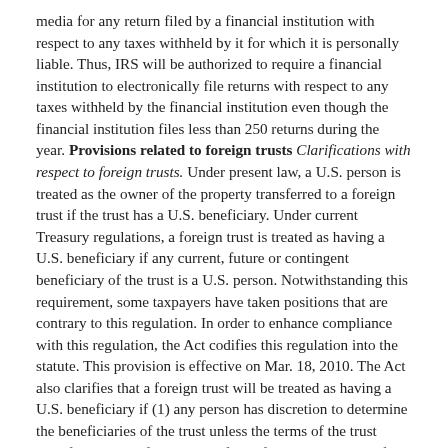media for any return filed by a financial institution with respect to any taxes withheld by it for which it is personally liable. Thus, IRS will be authorized to require a financial institution to electronically file returns with respect to any taxes withheld by the financial institution even though the financial institution files less than 250 returns during the year. Provisions related to foreign trusts Clarifications with respect to foreign trusts. Under present law, a U.S. person is treated as the owner of the property transferred to a foreign trust if the trust has a U.S. beneficiary. Under current Treasury regulations, a foreign trust is treated as having a U.S. beneficiary if any current, future or contingent beneficiary of the trust is a U.S. person. Notwithstanding this requirement, some taxpayers have taken positions that are contrary to this regulation. In order to enhance compliance with this regulation, the Act codifies this regulation into the statute. This provision is effective on Mar. 18, 2010. The Act also clarifies that a foreign trust will be treated as having a U.S. beneficiary if (1) any person has discretion to determine the beneficiaries of the trust unless the terms of the trust specifically identify the class of beneficiaries and none of those beneficiaries are U.S. persons or (2) any written oral or the amount or able resulting beneficiaries of the